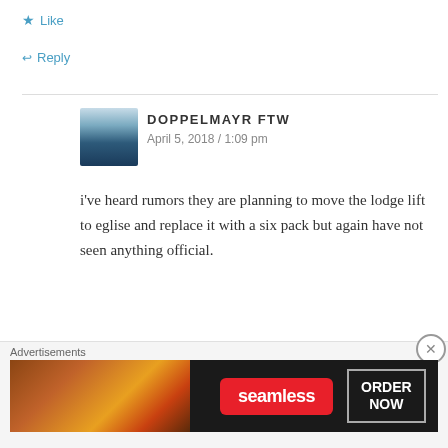★ Like
↩ Reply
DOPPELMAYR FTW
April 5, 2018 / 1:09 pm
i've heard rumors they are planning to move the lodge lift to eglise and replace it with a six pack but again have not seen anything official.
★ Like
↩ Reply
[Figure (screenshot): Seamless food delivery advertisement banner with pizza image, red Seamless logo button, and ORDER NOW button on dark background]
Advertisements